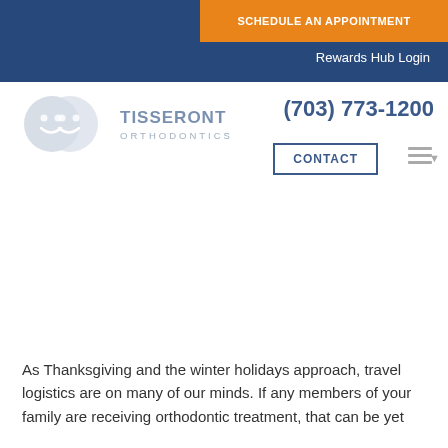SCHEDULE AN APPOINTMENT
Rewards Hub Login
[Figure (logo): Tisseront Orthodontics logo with two overlapping smiley face circles and text TISSERONT ORTHODONTICS]
(703) 773-1200
CONTACT
As Thanksgiving and the winter holidays approach, travel logistics are on many of our minds. If any members of your family are receiving orthodontic treatment, that can be yet